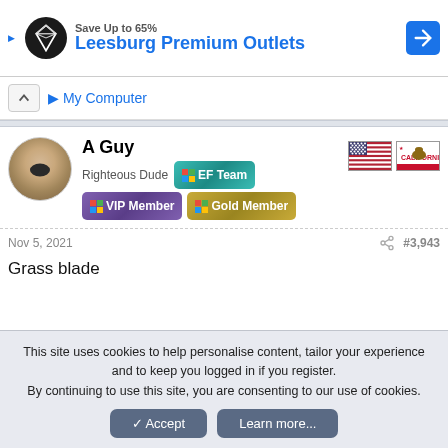[Figure (screenshot): Ad banner for Leesburg Premium Outlets with logo, text 'Save Up to 65%' and 'Leesburg Premium Outlets', and a blue arrow icon]
▶ My Computer
A Guy
Righteous Dude
[Figure (screenshot): User badges: EF Team (teal), VIP Member (purple), Gold Member (gold), with Windows logo icons. US flag and California flag shown on right.]
Nov 5, 2021
#3,943
Grass blade
This site uses cookies to help personalise content, tailor your experience and to keep you logged in if you register.
By continuing to use this site, you are consenting to our use of cookies.
✓ Accept
Learn more...